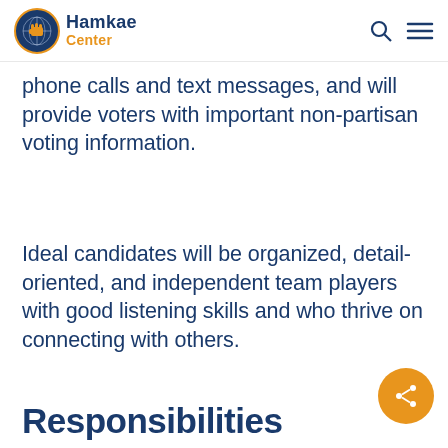[Figure (logo): Hamkae Center logo with circular fist icon in blue and gold, and text 'Hamkae Center' in navy and orange]
phone calls and text messages, and will provide voters with important non-partisan voting information.
Ideal candidates will be organized, detail-oriented, and independent team players with good listening skills and who thrive on connecting with others.
Responsibilities